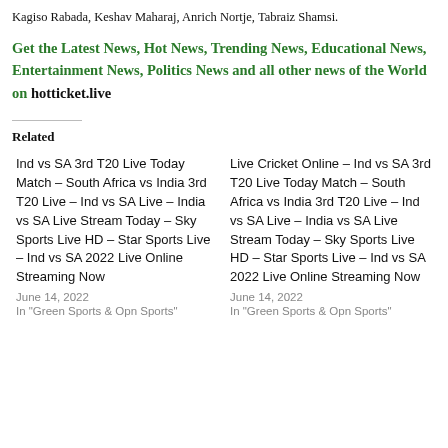Kagiso Rabada, Keshav Maharaj, Anrich Nortje, Tabraiz Shamsi.
Get the Latest News, Hot News, Trending News, Educational News, Entertainment News, Politics News and all other news of the World on hotticket.live
Related
Ind vs SA 3rd T20 Live Today Match – South Africa vs India 3rd T20 Live – Ind vs SA Live – India vs SA Live Stream Today – Sky Sports Live HD – Star Sports Live – Ind vs SA 2022 Live Online Streaming Now
June 14, 2022
In "Green Sports & Opn Sports"
Live Cricket Online – Ind vs SA 3rd T20 Live Today Match – South Africa vs India 3rd T20 Live – Ind vs SA Live – India vs SA Live Stream Today – Sky Sports Live HD – Star Sports Live – Ind vs SA 2022 Live Online Streaming Now
June 14, 2022
In "Green Sports & Opn Sports"